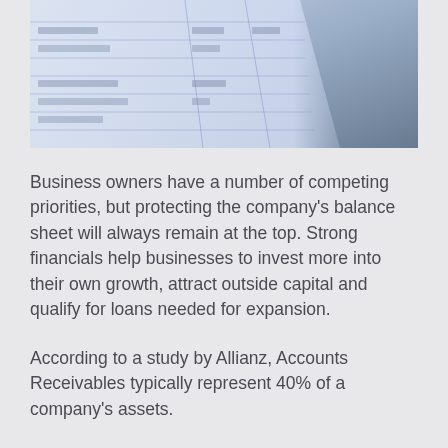[Figure (photo): Close-up photo of financial ledger or invoice document with blue ruled lines and printed text, partially in shadow, angled view]
Business owners have a number of competing priorities, but protecting the company's balance sheet will always remain at the top. Strong financials help businesses to invest more into their own growth, attract outside capital and qualify for loans needed for expansion.
According to a study by Allianz, Accounts Receivables typically represent 40% of a company's assets.